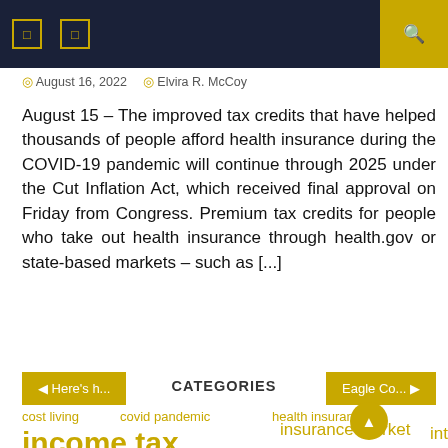[ ] [ ] | Search
August 16, 2022 | Elvira R. McCoy
August 15 – The improved tax credits that have helped thousands of people afford health insurance during the COVID-19 pandemic will continue through 2025 under the Cut Inflation Act, which received final approval on Friday from Congress. Premium tax credits for people who take out health insurance through health.gov or state-based markets – such as [...]
◁ Here's h...
Eagle Co... ▷
CATEGORIES
cost living
covid pandemic
health insurance
income tax
insurance market
interest rates